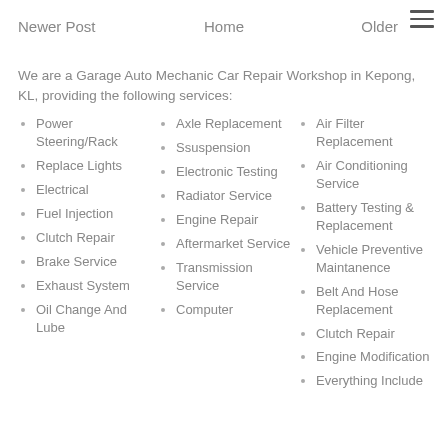Newer Post   Home   Older
We are a Garage Auto Mechanic Car Repair Workshop in Kepong, KL, providing the following services:
Power Steering/Rack
Replace Lights
Electrical
Fuel Injection
Clutch Repair
Brake Service
Exhaust System
Oil Change And Lube
Axle Replacement
Ssuspension
Electronic Testing
Radiator Service
Engine Repair
Aftermarket Service
Transmission Service
Computer
Air Filter Replacement
Air Conditioning Service
Battery Testing & Replacement
Vehicle Preventive Maintanence
Belt And Hose Replacement
Clutch Repair
Engine Modification
Everything Include